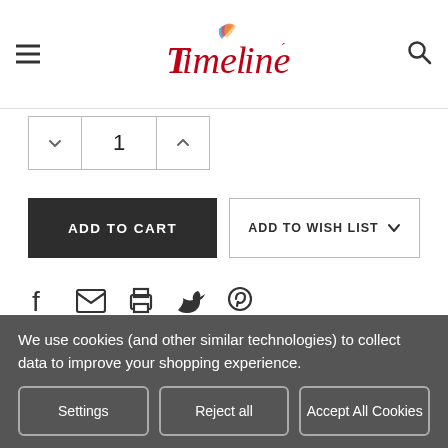[Figure (logo): Timeline brand logo with stylized feather/ribbon accent in blue and red cursive lettering]
1
ADD TO CART
ADD TO WISH LIST
[Figure (infographic): Social sharing icons: Facebook, Email, Print, Twitter, Pinterest]
DESCRIPTION
We use cookies (and other similar technologies) to collect data to improve your shopping experience.
Settings
Reject all
Accept All Cookies